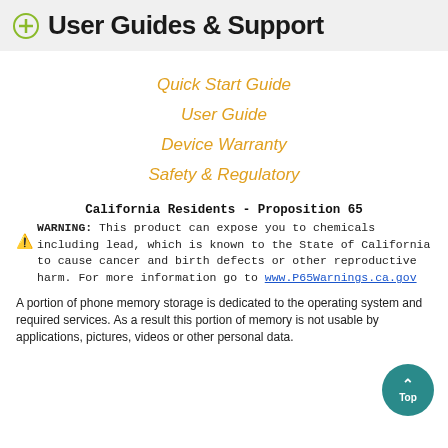User Guides & Support
Quick Start Guide
User Guide
Device Warranty
Safety & Regulatory
California Residents - Proposition 65
WARNING: This product can expose you to chemicals including lead, which is known to the State of California to cause cancer and birth defects or other reproductive harm. For more information go to www.P65Warnings.ca.gov
A portion of phone memory storage is dedicated to the operating system and required services. As a result this portion of memory is not usable by applications, pictures, videos or other personal data.